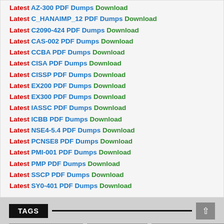Latest AZ-300 PDF Dumps Download
Latest C_HANAIMP_12 PDF Dumps Download
Latest C2090-424 PDF Dumps Download
Latest CAS-002 PDF Dumps Download
Latest CCBA PDF Dumps Download
Latest CISA PDF Dumps Download
Latest CISSP PDF Dumps Download
Latest EX200 PDF Dumps Download
Latest EX300 PDF Dumps Download
Latest IASSC PDF Dumps Download
Latest ICBB PDF Dumps Download
Latest NSE4-5.4 PDF Dumps Download
Latest PCNSE8 PDF Dumps Download
Latest PMI-001 PDF Dumps Download
Latest PMP PDF Dumps Download
Latest SSCP PDF Dumps Download
Latest SY0-401 PDF Dumps Download
TAGS
70-410 EXAM QUESTION  70-410 PDF DUMPS  70-410 PRACTICE EXAM